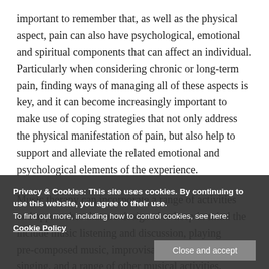important to remember that, as well as the physical aspect, pain can also have psychological, emotional and spiritual components that can affect an individual. Particularly when considering chronic or long-term pain, finding ways of managing all of these aspects is key, and it can become increasingly important to make use of coping strategies that not only address the physical manifestation of pain, but also help to support and alleviate the related emotional and psychological elements of the experience.
Music therapy can incorporate a range of activities and approaches that are designed to keep in mind the include music listening and discussion, playing pre-composed music, improvisation, song-writing, singing, and a range of other musical activities. Although playing and creating music can constitute a large part of the therapeutic process, it is important to emphasise
Privacy & Cookies: This site uses cookies. By continuing to use this website, you agree to their use. To find out more, including how to control cookies, see here: Cookie Policy